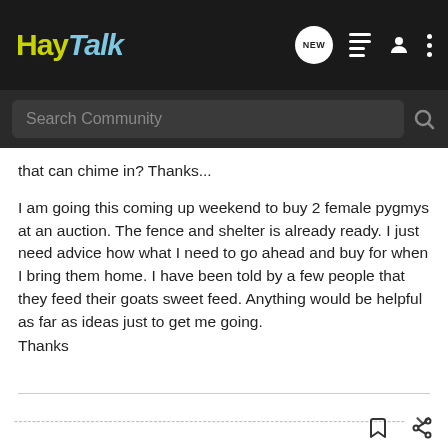HayTalk
Search Community
that can chime in? Thanks...

I am going this coming up weekend to buy 2 female pygmys at an auction. The fence and shelter is already ready. I just need advice how what I need to go ahead and buy for when I bring them home. I have been told by a few people that they feed their goats sweet feed. Anything would be helpful as far as ideas just to get me going.
Thanks